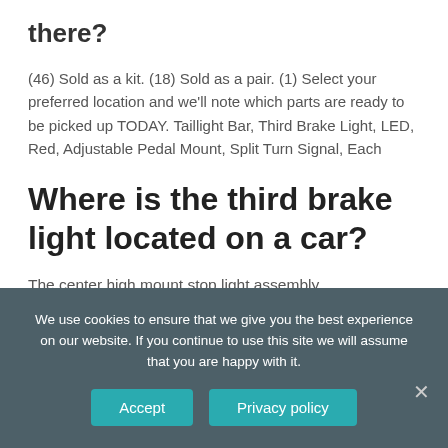there?
(46) Sold as a kit. (18) Sold as a pair. (1) Select your preferred location and we'll note which parts are ready to be picked up TODAY. Taillight Bar, Third Brake Light, LED, Red, Adjustable Pedal Mount, Split Turn Signal, Each
Where is the third brake light located on a car?
The center high mount stop light assembly,
We use cookies to ensure that we give you the best experience on our website. If you continue to use this site we will assume that you are happy with it.